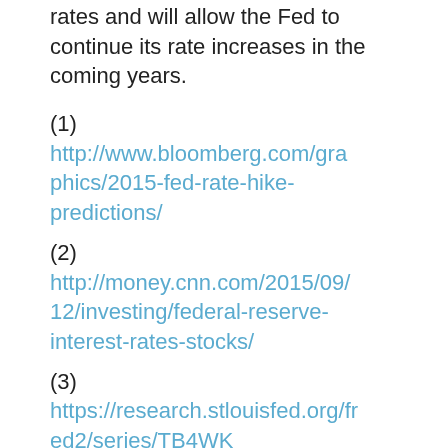rates and will allow the Fed to continue its rate increases in the coming years.
(1) http://www.bloomberg.com/graphics/2015-fed-rate-hike-predictions/
(2) http://money.cnn.com/2015/09/12/investing/federal-reserve-interest-rates-stocks/
(3) https://research.stlouisfed.org/fred2/series/TB4WK
(4)